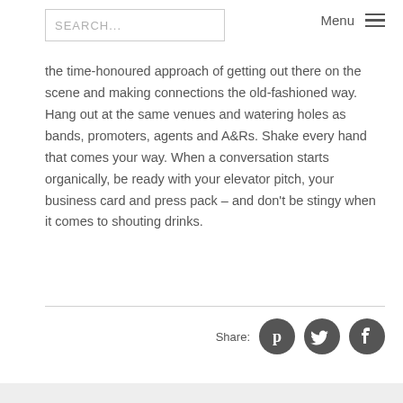SEARCH... Menu
the time-honoured approach of getting out there on the scene and making connections the old-fashioned way. Hang out at the same venues and watering holes as bands, promoters, agents and A&Rs. Shake every hand that comes your way. When a conversation starts organically, be ready with your elevator pitch, your business card and press pack – and don't be stingy when it comes to shouting drinks.
[Figure (infographic): Share buttons row with Pinterest, Twitter, and Facebook circular dark grey icons, labelled 'Share:']